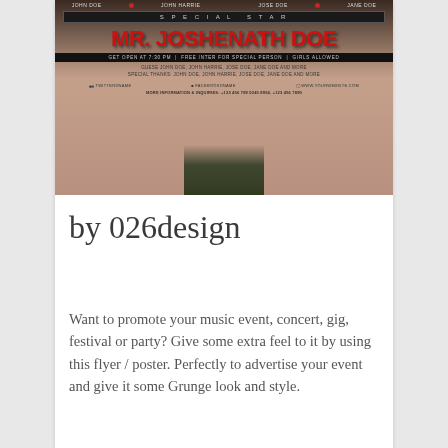[Figure (illustration): Event flyer/poster for MR. JOSHENATH DOE featuring grunge style design with Special Star label, guest names, social media info, and a figure at the bottom]
by 026design
Want to promote your music event, concert, gig, festival or party? Give some extra feel to it by using this flyer / poster. Perfectly to advertise your event and give it some Grunge look and style.